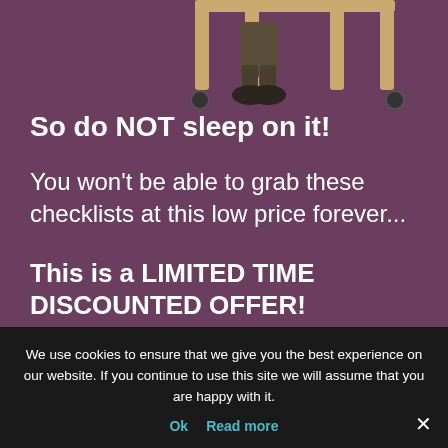[Figure (illustration): Partial illustration of a person sitting in a chair, showing legs/feet of a figure against a purple background, visible at the top of the page.]
So do NOT sleep on it!
You won't be able to grab these checklists at this low price forever...
This is a LIMITED TIME DISCOUNTED OFFER!
In fact, we're still thinking of making it $97 at the near
We use cookies to ensure that we give you the best experience on our website. If you continue to use this site we will assume that you are happy with it.
Ok
Read more